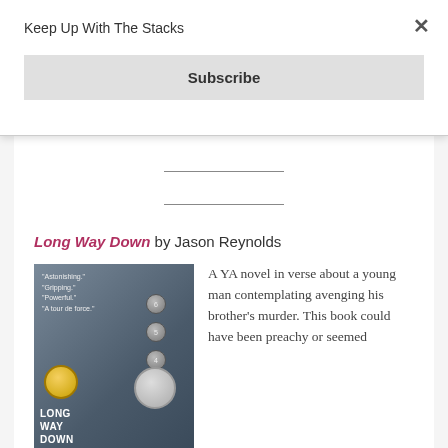Keep Up With The Stacks
Subscribe
Long Way Down by Jason Reynolds
[Figure (photo): Book cover of 'Long Way Down' by Jason Reynolds, showing elevator buttons and coins/medals with blurbs reading 'Astonishing.' 'Gripping.' 'Powerful.' 'A tour de force.']
A YA novel in verse about a young man contemplating avenging his brother's murder. This book could have been preachy or seemed